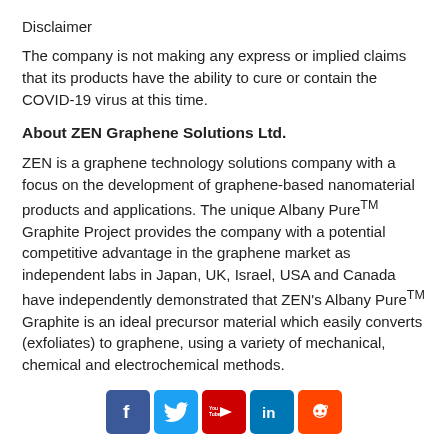Disclaimer
The company is not making any express or implied claims that its products have the ability to cure or contain the COVID-19 virus at this time.
About ZEN Graphene Solutions Ltd.
ZEN is a graphene technology solutions company with a focus on the development of graphene-based nanomaterial products and applications. The unique Albany Pure™ Graphite Project provides the company with a potential competitive advantage in the graphene market as independent labs in Japan, UK, Israel, USA and Canada have independently demonstrated that ZEN’s Albany Pure™ Graphite is an ideal precursor material which easily converts (exfoliates) to graphene, using a variety of mechanical, chemical and electrochemical methods.
[Figure (infographic): Row of five social media icons: Facebook (blue), Twitter (blue), YouTube (red), LinkedIn (blue), Reddit (orange)]